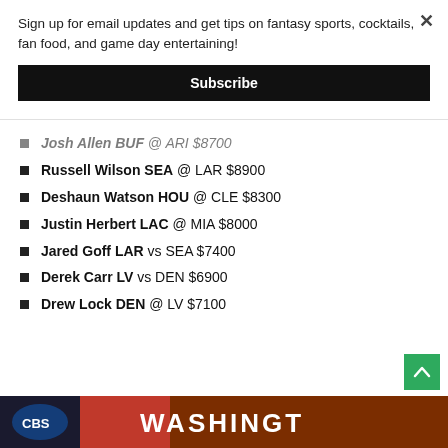Sign up for email updates and get tips on fantasy sports, cocktails, fan food, and game day entertaining!
Subscribe
Josh Allen BUF @ ARI $8700
Russell Wilson SEA @ LAR $8900
Deshaun Watson HOU @ CLE $8300
Justin Herbert LAC @ MIA $8000
Jared Goff LAR vs SEA $7400
Derek Carr LV vs DEN $6900
Drew Lock DEN @ LV $7100
[Figure (photo): Washington football team banner/scoreboard photo at bottom of page]